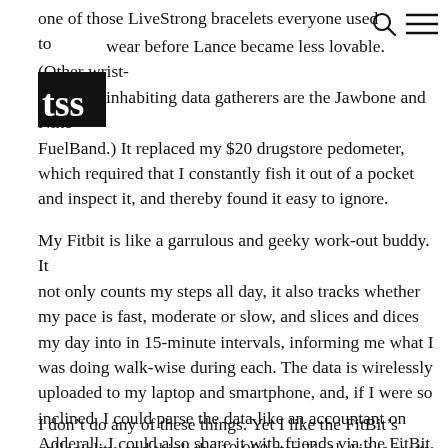one of those LiveStrong bracelets everyone used to wear before Lance became less lovable. (Other wrist-inhabiting data gatherers are the Jawbone and Nike+ FuelBand.) It replaced my $20 drugstore pedometer, which required that I constantly fish it out of a pocket and inspect it, and thereby found it easy to ignore.
My Fitbit is like a garrulous and geeky work-out buddy. It not only counts my steps all day, it also tracks whether my pace is fast, moderate or slow, and slices and dices my day into in 15-minute intervals, informing me what I was doing walk-wise during each. The data is wirelessly uploaded to my laptop and smartphone, and, if I were so inclined, I could parse the data like an accountant on Adderall. I could also share it with friends via the FitBit website.
I don't do any of these things. Yet I like the FitBit's collegiality, and think the 10,000 step Kool-Aid is pretty